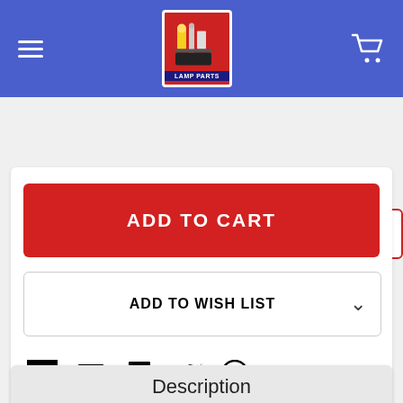[Figure (logo): Grand Brass Lamp Parts store logo in red box with navigation header, hamburger menu and cart icon on blue background]
Search the store
ADD TO CART
ADD TO WISH LIST
[Figure (illustration): Social sharing icons: Facebook, Email, Print, Twitter, Pinterest]
Description
10ft. Long Black/Brown Hounds Tooth Pattern 18/3 SPT-1